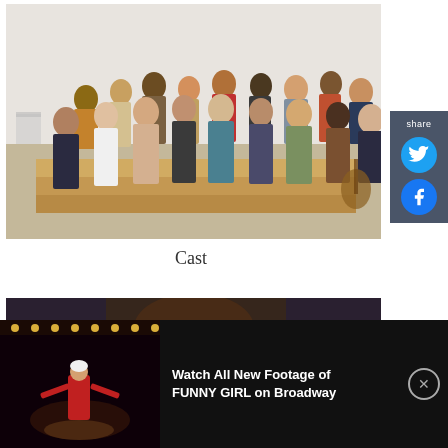[Figure (photo): Group photo of a theater cast standing on wooden rehearsal platforms in a rehearsal hall. Large group of approximately 25 people posing together.]
Cast
[Figure (photo): Video thumbnail showing a performer in a red costume on a stage with lights, from Funny Girl on Broadway.]
Watch All New Footage of FUNNY GIRL on Broadway